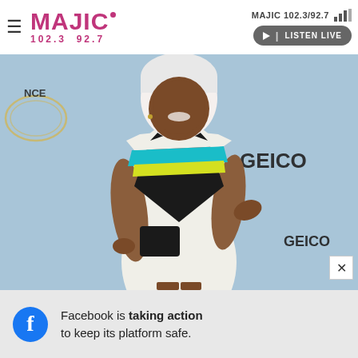MAJIC 102.3/92.7 | LISTEN LIVE
[Figure (photo): Woman in a white, black, teal, and yellow color-block bodycon dress posing on a red carpet with GEICO, Lincoln, Essence Black Women in Hollywood, and smartwater sponsor logos on a light blue step-and-repeat backdrop.]
Facebook is taking action to keep its platform safe.